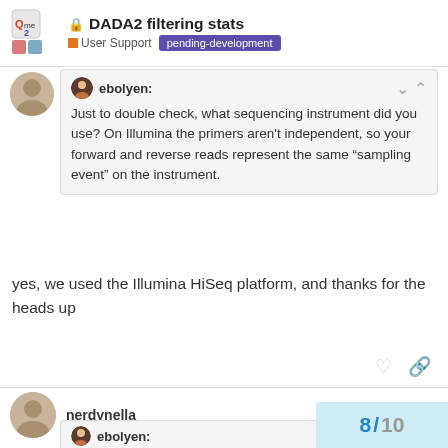DADA2 filtering stats | User Support | pending-development
ebolyen: Just to double check, what sequencing instrument did you use? On Illumina the primers aren't independent, so your forward and reverse reads represent the same “sampling event” on the instrument.
yes, we used the Illumina HiSeq platform, and thanks for the heads up
nerdynella Apr '18
ebolyen:
8 / 10